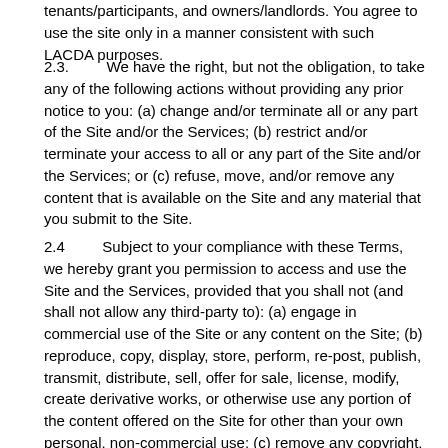tenants/participants, and owners/landlords. You agree to use the site only in a manner consistent with such LACDA purposes.
2.3. We have the right, but not the obligation, to take any of the following actions without providing any prior notice to you: (a) change and/or terminate all or any part of the Site and/or the Services; (b) restrict and/or terminate your access to all or any part of the Site and/or the Services; or (c) refuse, move, and/or remove any content that is available on the Site and any material that you submit to the Site.
2.4 Subject to your compliance with these Terms, we hereby grant you permission to access and use the Site and the Services, provided that you shall not (and shall not allow any third-party to): (a) engage in commercial use of the Site or any content on the Site; (b) reproduce, copy, display, store, perform, re-post, publish, transmit, distribute, sell, offer for sale, license, modify, create derivative works, or otherwise use any portion of the content offered on the Site for other than your own personal, non-commercial use; (c) remove any copyright, trademark or other proprietary rights notices contained in or on the Site or Services, or in or on any content or other material obtained via the Site or the Services; (d) use any robot, spider, site search/retrieval application, or other automated device, process